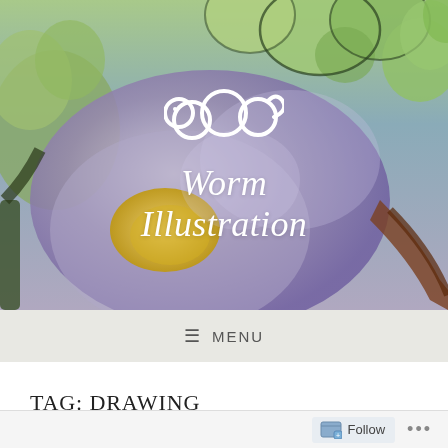[Figure (illustration): Website header banner showing a colorful watercolor illustration of leaves and branches in green, purple, and brown tones. Overlaid with a white worm logo (stylized worm shape) and the text 'Worm Illustration' in white italic serif font.]
Worm Illustration
≡ MENU
TAG: DRAWING
Follow ...